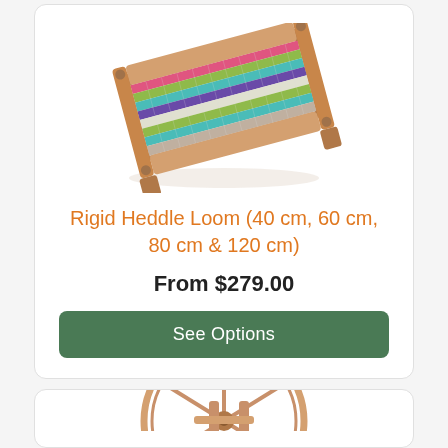[Figure (photo): A rigid heddle loom with colorful woven threads in stripes of pink, green, teal, purple, and white, with wooden frame and beam.]
Rigid Heddle Loom (40 cm, 60 cm, 80 cm & 120 cm)
From $279.00
See Options
[Figure (photo): A wooden spinning wheel, partially visible at the bottom of the page.]